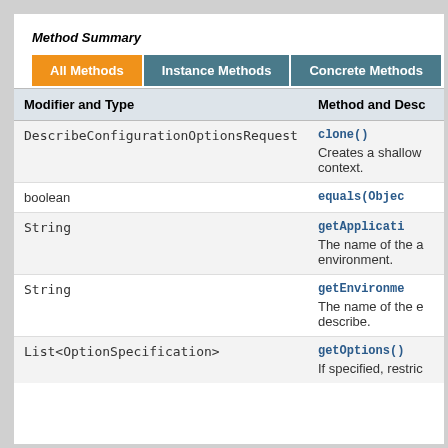Method Summary
| Modifier and Type | Method and Description |
| --- | --- |
| DescribeConfigurationOptionsRequest | clone()
Creates a shallow context. |
| boolean | equals(Object |
| String | getApplicationName()
The name of the application environment. |
| String | getEnvironmentName()
The name of the environment to describe. |
| List<OptionSpecification> | getOptions()
If specified, restric |